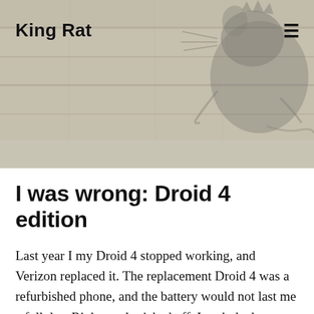King Rat
I was wrong: Droid 4 edition
Last year I my Droid 4 stopped working, and Verizon replaced it. The replacement Droid 4 was a refurbished phone, and the battery would not last me a full day. Righteously ticked off, I took the bus downtown to the Verizon store. In the 28 minutes it took me to get there, the phone’s battery dropped from 100% charge to 90%. I didn’t even turn the screen on. There was no reason it should use that much battery so quickly. At the Verizon store, rather than get my third Droid 4 in a year, I angrily paid full price for a Droid Maxx. Which I love, other than